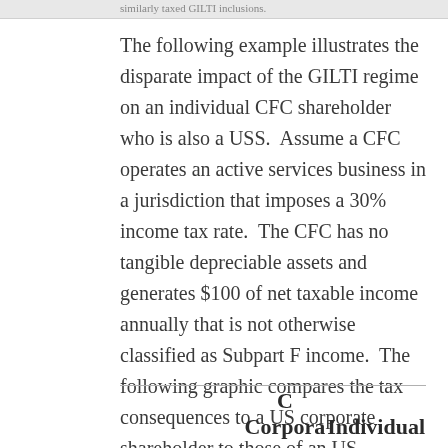The following example illustrates the disparate impact of the GILTI regime on an individual CFC shareholder who is also a USS.  Assume a CFC operates an active services business in a jurisdiction that imposes a 30% income tax rate.  The CFC has no tangible depreciable assets and generates $100 of net taxable income annually that is not otherwise classified as Subpart F income.  The following graphic compares the tax consequences to a US corporate shareholder to those of an US individual shareholder:
| C Corpora | Individual |
| --- | --- |